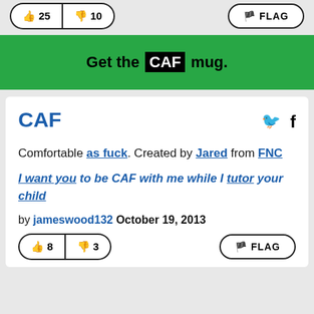[Figure (other): Vote buttons showing thumbs up 25 and thumbs down 10, and a FLAG button]
[Figure (other): Green banner button: Get the CAF mug.]
CAF
Comfortable as fuck. Created by Jared from FNC
I want you to be CAF with me while I tutor your child
by jameswood132 October 19, 2013
[Figure (other): Vote buttons showing thumbs up 8 and thumbs down 3, and a FLAG button]